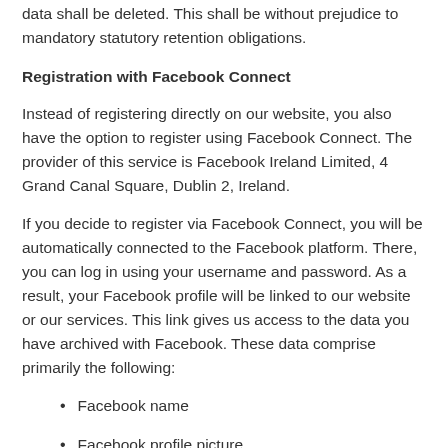data shall be deleted. This shall be without prejudice to mandatory statutory retention obligations.
Registration with Facebook Connect
Instead of registering directly on our website, you also have the option to register using Facebook Connect. The provider of this service is Facebook Ireland Limited, 4 Grand Canal Square, Dublin 2, Ireland.
If you decide to register via Facebook Connect, you will be automatically connected to the Facebook platform. There, you can log in using your username and password. As a result, your Facebook profile will be linked to our website or our services. This link gives us access to the data you have archived with Facebook. These data comprise primarily the following:
Facebook name
Facebook profile picture
Email address provided to Facebook